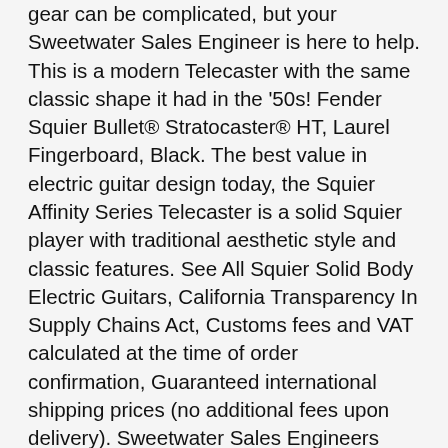gear can be complicated, but your Sweetwater Sales Engineer is here to help. This is a modern Telecaster with the same classic shape it had in the '50s! Fender Squier Bullet® Stratocaster® HT, Laurel Fingerboard, Black. The best value in electric guitar design today, the Squier Affinity Series Telecaster is a solid Squier player with traditional aesthetic style and classic features. See All Squier Solid Body Electric Guitars, California Transparency In Supply Chains Act, Customs fees and VAT calculated at the time of order confirmation, Guaranteed international shipping prices (no additional fees upon delivery). Sweetwater Sales Engineers help you buy music gear with confidence. The Free Two-Day Shipping icon will appear next to the items that typically arrive in two days. Everything you love about Sweetwater in the palm of your hand. Again, if you want to know how this guitar feels and plays, go try an Affinity Telecaster and you'll know. Hand selected from all across the globe, each brings a wealth of experience and expertise in the world of music gear. Squier Affinity Tele Maple Neck 2 Tone Sunburst. Squier Affinity Telecaster HH Electric Guitar with